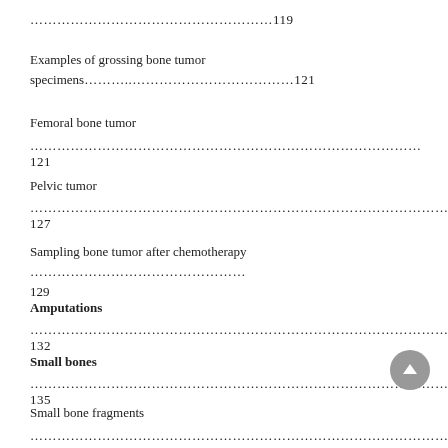………………………………………………119
Examples of grossing bone tumor specimens………..………………………………121
Femoral bone tumor
……………………………………………………………………………121
Pelvic tumor
……………………………………………………………………………………127
Sampling bone tumor after chemotherapy ………………………………………… 129
Amputations
……………………………………………………………………………………132
Small bones
…………………………………………………………………………………135
Small bone fragments
……………………………………………………………………………………137